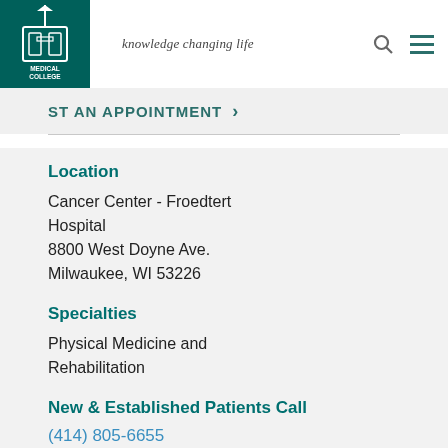knowledge changing life
ST AN APPOINTMENT
Location
Cancer Center - Froedtert Hospital
8800 West Doyne Ave.
Milwaukee, WI 53226
Specialties
Physical Medicine and Rehabilitation
New & Established Patients Call
(414) 805-6655
"I always wanted to help my patients live life as close to